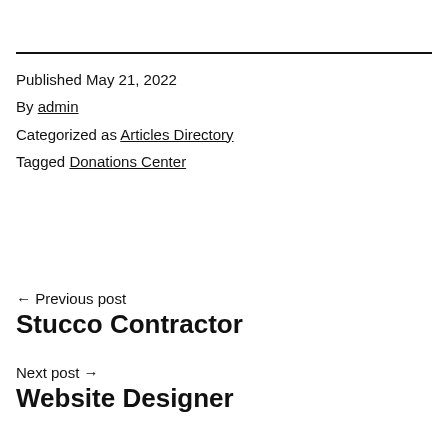Published May 21, 2022
By admin
Categorized as Articles Directory
Tagged Donations Center
← Previous post
Stucco Contractor
Next post →
Website Designer